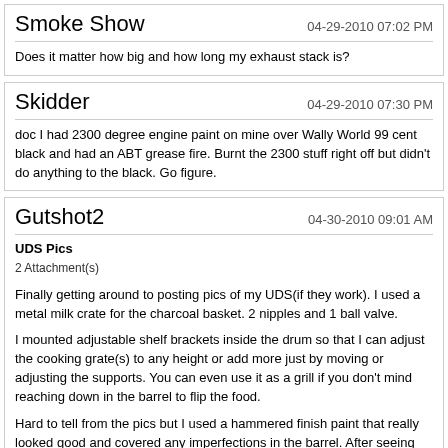Smoke Show | 04-29-2010 07:02 PM
Does it matter how big and how long my exhaust stack is?
Skidder | 04-29-2010 07:30 PM
doc I had 2300 degree engine paint on mine over Wally World 99 cent black and had an ABT grease fire. Burnt the 2300 stuff right off but didn't do anything to the black. Go figure.
Gutshot2 | 04-30-2010 09:01 AM
UDS Pics
2 Attachment(s)
Finally getting around to posting pics of my UDS(if they work). I used a metal milk crate for the charcoal basket. 2 nipples and 1 ball valve.

I mounted adjustable shelf brackets inside the drum so that I can adjust the cooking grate(s) to any height or add more just by moving or adjusting the supports. You can even use it as a grill if you don't mind reaching down in the barrel to flip the food.

Hard to tell from the pics but I used a hammered finish paint that really looked good and covered any imperfections in the barrel. After seeing the green and white Philadelphia Eagles UDS I see an orange and blue paint job coming for mine in the near future.